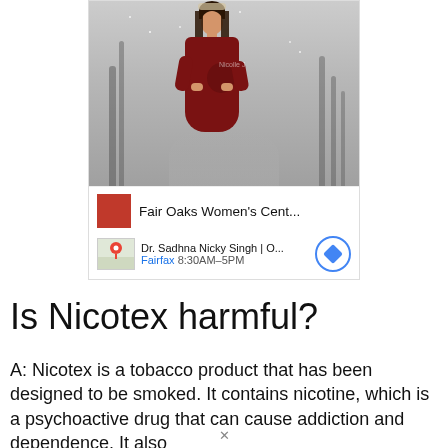[Figure (photo): Advertisement card showing a pregnant woman in a red dress with flower crown standing in a snowy/wintry outdoor scene. Below the photo is a brand row showing 'Fair Oaks Women's Cent...' with a red logo, and a location row showing 'Dr. Sadhna Nicky Singh | O...' with 'Fairfax 8:30AM–5PM' and a navigation button.]
Is Nicotex harmful?
A: Nicotex is a tobacco product that has been designed to be smoked. It contains nicotine, which is a psychoactive drug that can cause addiction and dependence. It also